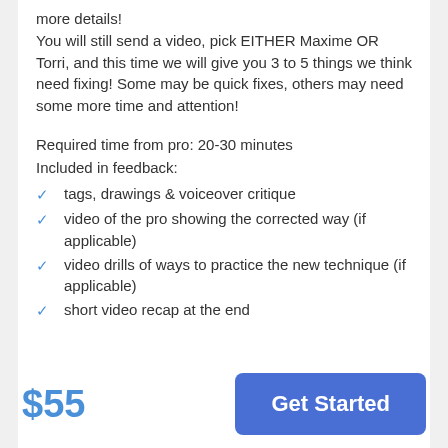more details! You will still send a video, pick EITHER Maxime OR Torri, and this time we will give you 3 to 5 things we think need fixing! Some may be quick fixes, others may need some more time and attention!
Required time from pro: 20-30 minutes
Included in feedback:
tags, drawings & voiceover critique
video of the pro showing the corrected way (if applicable)
video drills of ways to practice the new technique (if applicable)
short video recap at the end
$55
Get Started